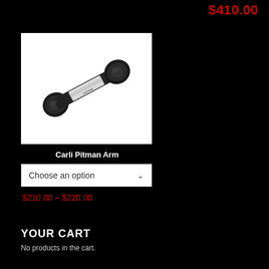$410.00
[Figure (photo): Carli Pitman Arm product photo on white background — a black metal arm/linkage component with ball joints at both ends and a label sticker in the middle]
Carli Pitman Arm
Choose an option
$210.00 – $220.00
YOUR CART
No products in the cart.